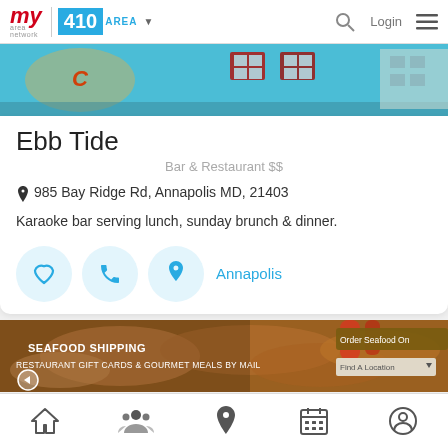my area network | 410 AREA ▼   🔍  Login  ≡
[Figure (photo): Exterior photo of Ebb Tide restaurant with teal/blue painted wall and windows]
Ebb Tide
Bar & Restaurant $$
📍 985 Bay Ridge Rd, Annapolis MD, 21403
Karaoke bar serving lunch, sunday brunch & dinner.
Annapolis
[Figure (photo): Seafood food photo with overlay text: SEAFOOD SHIPPING, RESTAURANT GIFT CARDS & GOURMET MEALS BY MAIL, Order Seafood Online button, Find A Location dropdown]
🏠  👥  📍  📅  👤